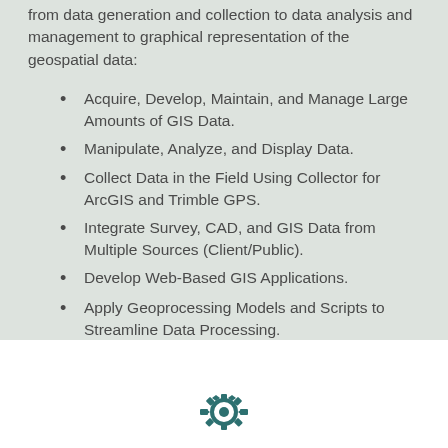from data generation and collection to data analysis and management to graphical representation of the geospatial data:
Acquire, Develop, Maintain, and Manage Large Amounts of GIS Data.
Manipulate, Analyze, and Display Data.
Collect Data in the Field Using Collector for ArcGIS and Trimble GPS.
Integrate Survey, CAD, and GIS Data from Multiple Sources (Client/Public).
Develop Web-Based GIS Applications.
Apply Geoprocessing Models and Scripts to Streamline Data Processing.
[Figure (illustration): Gear/settings icon at the bottom center of the page]